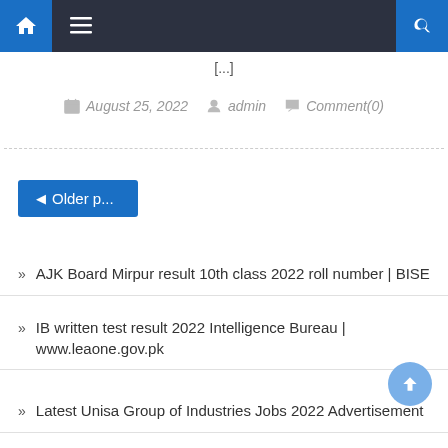Navigation bar with home, menu, and search icons
[...]
August 25, 2022   admin   Comment(0)
◄ Older p...
AJK Board Mirpur result 10th class 2022 roll number | BISE
IB written test result 2022 Intelligence Bureau | www.leaone.gov.pk
Latest Unisa Group of Industries Jobs 2022 Advertisement